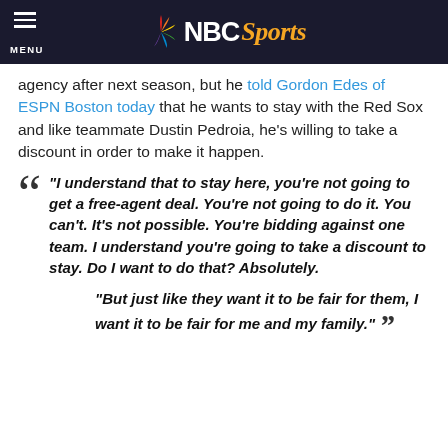NBC Sports
agency after next season, but he told Gordon Edes of ESPN Boston today that he wants to stay with the Red Sox and like teammate Dustin Pedroia, he's willing to take a discount in order to make it happen.
“I understand that to stay here, you’re not going to get a free-agent deal. You’re not going to do it. You can’t. It’s not possible. You’re bidding against one team. I understand you’re going to take a discount to stay. Do I want to do that? Absolutely. “But just like they want it to be fair for them, I want it to be fair for me and my family.”